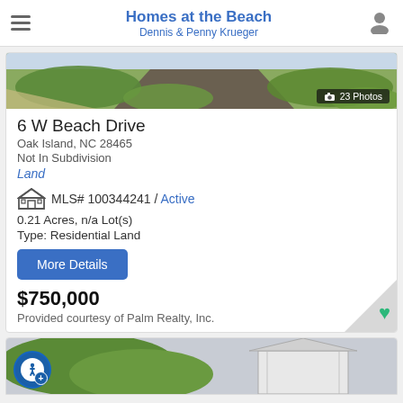Homes at the Beach — Dennis & Penny Krueger
[Figure (photo): Aerial photo of beach road with vegetation, showing 23 Photos badge]
6 W Beach Drive
Oak Island, NC 28465
Not In Subdivision
Land
MLS# 100344241 / Active
0.21 Acres, n/a Lot(s)
Type: Residential Land
More Details
$750,000
Provided courtesy of Palm Realty, Inc.
[Figure (photo): Partial view of second listing showing house exterior with trees, with accessibility widget]